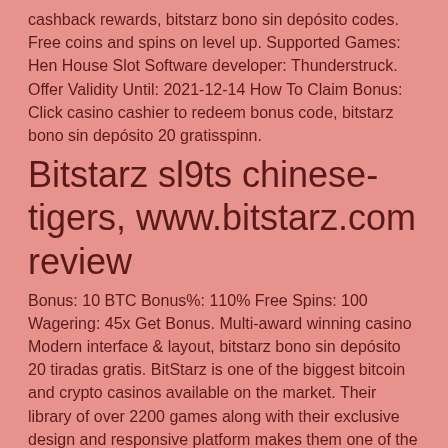cashback rewards, bitstarz bono sin depósito codes. Free coins and spins on level up. Supported Games: Hen House Slot Software developer: Thunderstruck. Offer Validity Until: 2021-12-14 How To Claim Bonus: Click casino cashier to redeem bonus code, bitstarz bono sin depósito 20 gratisspinn.
Bitstarz sl9ts chinese-tigers, www.bitstarz.com review
Bonus: 10 BTC Bonus%: 110% Free Spins: 100 Wagering: 45x Get Bonus. Multi-award winning casino Modern interface & layout, bitstarz bono sin depósito 20 tiradas gratis. BitStarz is one of the biggest bitcoin and crypto casinos available on the market. Their library of over 2200 games along with their exclusive design and responsive platform makes them one of the best choices for